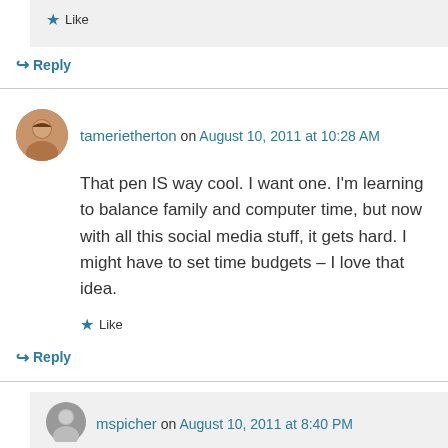★ Like
↪ Reply
tamerietherton on August 10, 2011 at 10:28 AM
That pen IS way cool. I want one. I'm learning to balance family and computer time, but now with all this social media stuff, it gets hard. I might have to set time budgets – I love that idea.
★ Like
↪ Reply
mspicher on August 10, 2011 at 8:40 PM
Balancing family and computer time is such